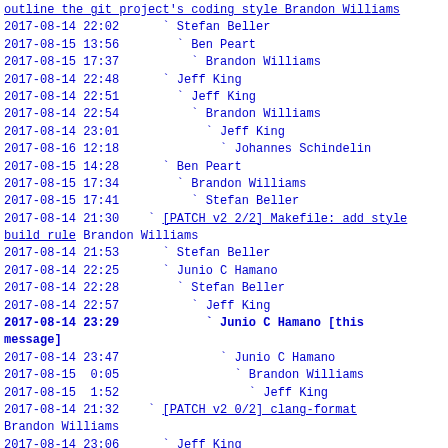outline the git project's coding style Brandon Williams
2017-08-14 22:02      ` Stefan Beller
2017-08-15 13:56        ` Ben Peart
2017-08-15 17:37          ` Brandon Williams
2017-08-14 22:48      ` Jeff King
2017-08-14 22:51        ` Jeff King
2017-08-14 22:54          ` Brandon Williams
2017-08-14 23:01            ` Jeff King
2017-08-16 12:18              ` Johannes Schindelin
2017-08-15 14:28      ` Ben Peart
2017-08-15 17:34        ` Brandon Williams
2017-08-15 17:41          ` Stefan Beller
2017-08-14 21:30    ` [PATCH v2 2/2] Makefile: add style build rule Brandon Williams
2017-08-14 21:53      ` Stefan Beller
2017-08-14 22:25      ` Junio C Hamano
2017-08-14 22:28        ` Stefan Beller
2017-08-14 22:57          ` Jeff King
2017-08-14 23:29            ` Junio C Hamano [this message]
2017-08-14 23:47              ` Junio C Hamano
2017-08-15  0:05                ` Brandon Williams
2017-08-15  1:52                  ` Jeff King
2017-08-14 21:32    ` [PATCH v2 0/2] clang-format Brandon Williams
2017-08-14 23:06      ` Jeff King
2017-08-14 23:15        ` Stefan Beller
2017-08-15  1:47          ` Jeff King
2017-08-15  3:03            ` Junio C Hamano
2017-08-15  3:38              ` Jeff King